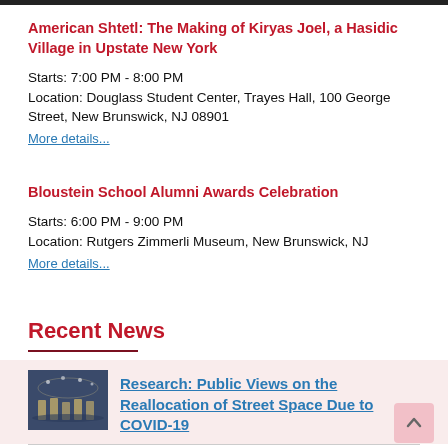American Shtetl: The Making of Kiryas Joel, a Hasidic Village in Upstate New York
Starts: 7:00 PM - 8:00 PM
Location: Douglass Student Center, Trayes Hall, 100 George Street, New Brunswick, NJ 08901
More details...
Bloustein School Alumni Awards Celebration
Starts: 6:00 PM - 9:00 PM
Location: Rutgers Zimmerli Museum, New Brunswick, NJ
More details...
Recent News
[Figure (photo): Thumbnail photo of an event with people seated at tables with lights overhead]
Research: Public Views on the Reallocation of Street Space Due to COVID-19